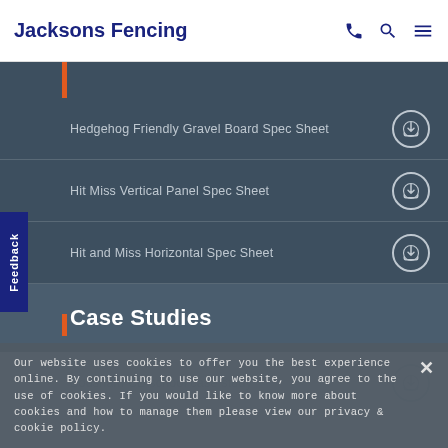Jacksons Fencing
Hedgehog Friendly Gravel Board Spec Sheet
Hit Miss Vertical Panel Spec Sheet
Hit and Miss Horizontal Spec Sheet
Case Studies
Bodsham CE school case study
Our website uses cookies to offer you the best experience online. By continuing to use our website, you agree to the use of cookies. If you would like to know more about cookies and how to manage them please view our privacy & cookie policy.